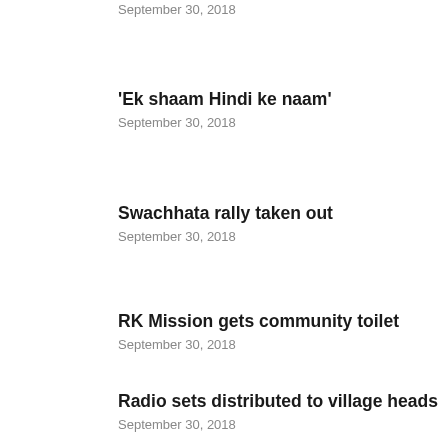September 30, 2018
‘Ek shaam Hindi ke naam’
September 30, 2018
Swachhata rally taken out
September 30, 2018
RK Mission gets community toilet
September 30, 2018
Radio sets distributed to village heads
September 30, 2018